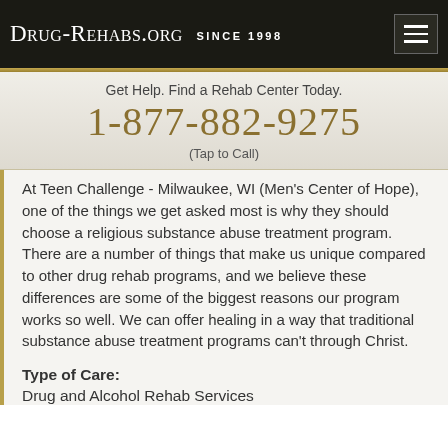Drug-Rehabs.org Since 1998
Get Help. Find a Rehab Center Today.
1-877-882-9275
(Tap to Call)
At Teen Challenge - Milwaukee, WI (Men's Center of Hope), one of the things we get asked most is why they should choose a religious substance abuse treatment program. There are a number of things that make us unique compared to other drug rehab programs, and we believe these differences are some of the biggest reasons our program works so well. We can offer healing in a way that traditional substance abuse treatment programs can't through Christ.
Type of Care: Drug and Alcohol Rehab Services